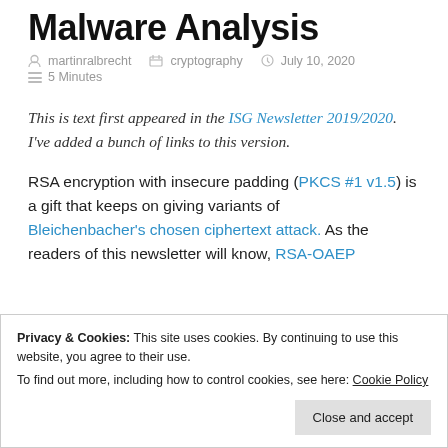Malware Analysis
martinralbrecht   cryptography   July 10, 2020   5 Minutes
This is text first appeared in the ISG Newsletter 2019/2020. I've added a bunch of links to this version.
RSA encryption with insecure padding (PKCS #1 v1.5) is a gift that keeps on giving variants of Bleichenbacher's chosen ciphertext attack. As the readers of this newsletter will know, RSA-OAEP
Privacy & Cookies: This site uses cookies. By continuing to use this website, you agree to their use.
To find out more, including how to control cookies, see here: Cookie Policy
Close and accept